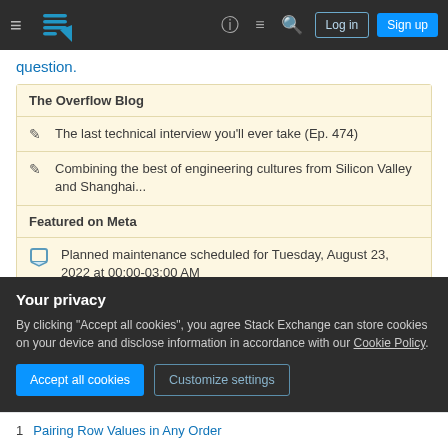Stack Exchange navigation bar with hamburger menu, logo, help, chat, search, Log in, Sign up buttons
question.
The Overflow Blog
The last technical interview you'll ever take (Ep. 474)
Combining the best of engineering cultures from Silicon Valley and Shanghai...
Featured on Meta
Planned maintenance scheduled for Tuesday, August 23, 2022 at 00:00-03:00 AM
Your privacy
By clicking "Accept all cookies", you agree Stack Exchange can store cookies on your device and disclose information in accordance with our Cookie Policy.
Accept all cookies   Customize settings
1   Pairing Row Values in Any Order